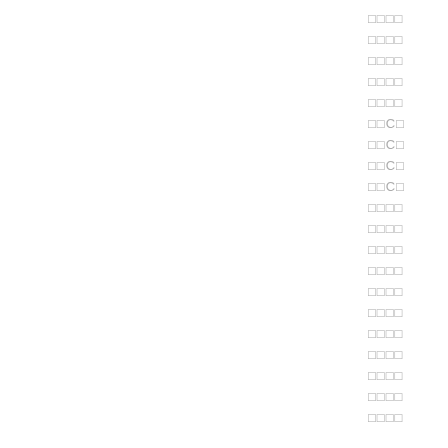□□□□
□□□□
□□□□
□□□□
□□□□
□□C□
□□C□
□□C□
□□C□
□□□□
□□□□
□□□□
□□□□
□□□□
□□□□
□□□□
□□□□
□□□□
□□□□
□□□□